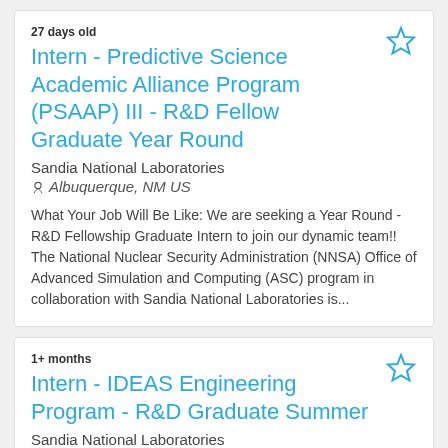27 days old
Intern - Predictive Science Academic Alliance Program (PSAAP) III - R&D Fellow Graduate Year Round
Sandia National Laboratories
Albuquerque, NM US
What Your Job Will Be Like: We are seeking a Year Round - R&D Fellowship Graduate Intern to join our dynamic team!! The National Nuclear Security Administration (NNSA) Office of Advanced Simulation and Computing (ASC) program in collaboration with Sandia National Laboratories is...
1+ months
Intern - IDEAS Engineering Program - R&D Graduate Summer
Sandia National Laboratories